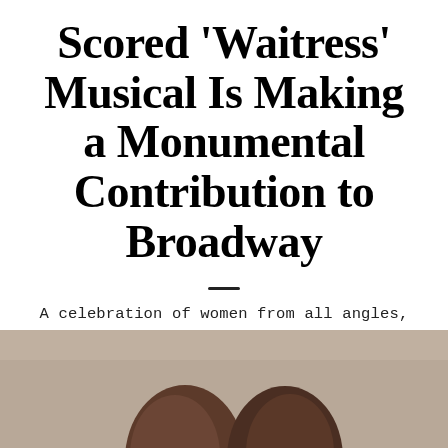Scored 'Waitress' Musical Is Making a Monumental Contribution to Broadway
A celebration of women from all angles, mixed up and baked in a beautiful pie.
[Figure (illustration): Social media share icons: Facebook (blue), Twitter (light blue), WhatsApp (green), Pinterest (red), divider, Email (black)]
[Figure (photo): Bottom strip showing tops of two people's heads with brown hair against a grey/beige background]